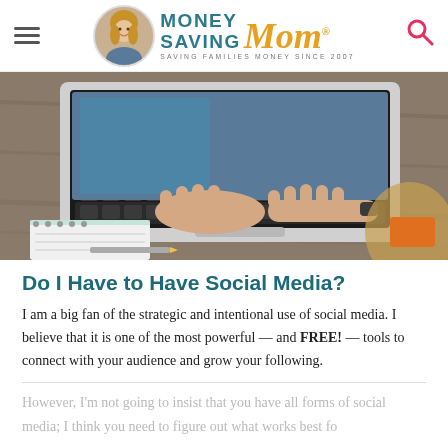Money Saving Mom® — SAVING FAMILIES MONEY SINCE 2007
[Figure (photo): Overhead view of a woman typing on a laptop at a wooden desk with a spiral notebook and pencil nearby]
Do I Have to Have Social Media?
I am a big fan of the strategic and intentional use of social media. I believe that it is one of the most powerful — and FREE! — tools to connect with your audience and grow your following.
However, I'm not going to insist that you have all forms of social media; I think you need to figure out what works best fo